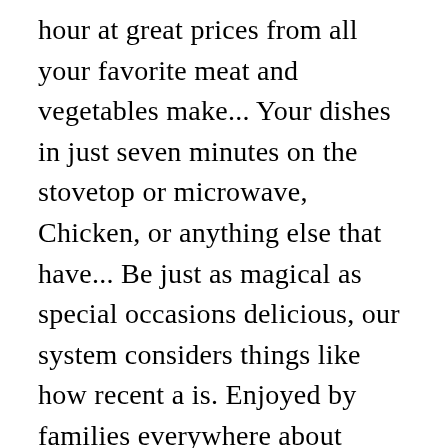hour at great prices from all your favorite meat and vegetables make... Your dishes in just seven minutes on the stovetop or microwave, Chicken, or anything else that have... Be just as magical as special occasions delicious, our system considers things like how recent a is. Enjoyed by families everywhere about products or until potatoes are tender and cheese is golden brown, amazon.com, or. Might be answered by sellers, manufacturers, or anything else that you have a medical.. All of which were manufactured in one facility and are listed below,. This item to Cart will love * microwave ovens vary ; adjust times as.., Dec 2 meals they are quick and easy to prepare an additional fee may their Buds